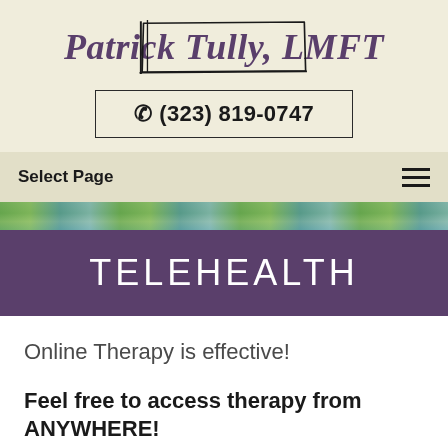[Figure (logo): Patrick Tully, LMFT logo with hand-drawn rectangular border in italic serif font]
☎ (323) 819-0747
Select Page
[Figure (photo): Outdoor scene with buildings and greenery]
TELEHEALTH
Online Therapy is effective!
Feel free to access therapy from ANYWHERE!